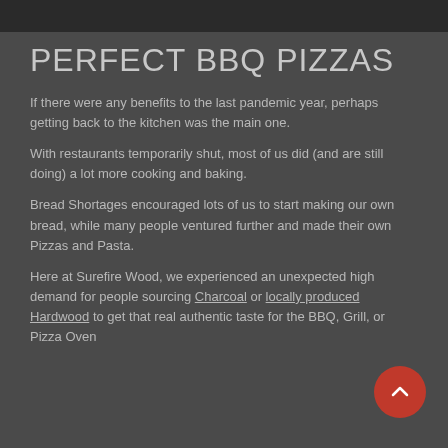[Figure (photo): Dark image strip at top of page, appears to be a cropped food/cooking photo]
PERFECT BBQ PIZZAS
If there were any benefits to the last pandemic year, perhaps getting back to the kitchen was the main one.
With restaurants temporarily shut, most of us did (and are still doing) a lot more cooking and baking.
Bread Shortages encouraged lots of us to start making our own bread, while many people ventured further and made their own Pizzas and Pasta.
Here at Surefire Wood, we experienced an unexpected high demand for people sourcing Charcoal or locally produced Hardwood to get that real authentic taste for the BBQ, Grill, or Pizza Oven